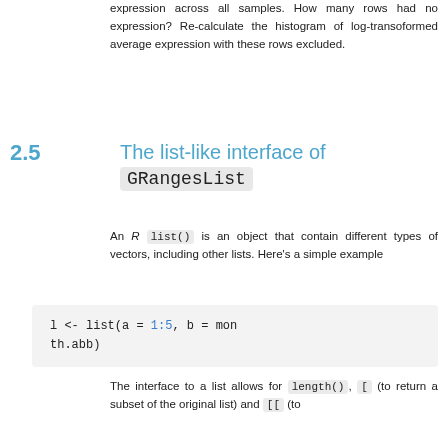expression across all samples. How many rows had no expression? Re-calculate the histogram of log-transoformed average expression with these rows excluded.
2.5  The list-like interface of GRangesList
An R list() is an object that contain different types of vectors, including other lists. Here's a simple example
l <- list(a = 1:5, b = month.abb)
The interface to a list allows for length(), [ (to return a subset of the original list) and [[ (to extract a single element of the list, either by name or by position). The elements of the list can be